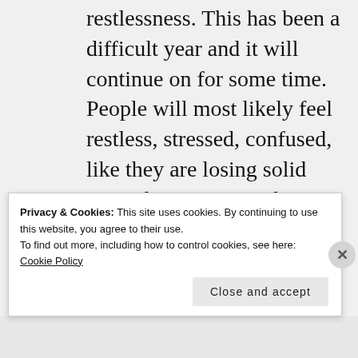restlessness. This has been a difficult year and it will continue on for some time. People will most likely feel restless, stressed, confused, like they are losing solid ground. It is a normal process, one foreseen and just a natural flow things. there must be had periods in time to
Privacy & Cookies: This site uses cookies. By continuing to use this website, you agree to their use.
To find out more, including how to control cookies, see here: Cookie Policy
Close and accept